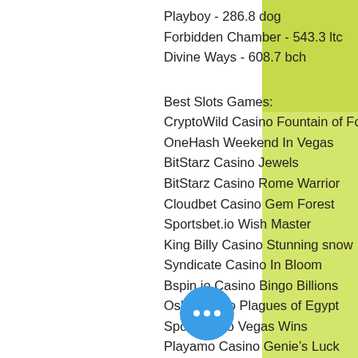Playboy - 286.8 dog
Forbidden Chamber - 543.3 ltc
Divine Ways - 608.7 bch
Best Slots Games:
CryptoWild Casino Fountain of Fortune
OneHash Weekend In Vegas
BitStarz Casino Jewels
BitStarz Casino Rome Warrior
Cloudbet Casino Gem Forest
Sportsbet.io Wish Master
King Billy Casino Stunning snow
Syndicate Casino In Bloom
Bspin.io Casino Bingo Billions
Oshi Casino Plagues of Egypt
Sportsbet.io Vegas Wins
Playamo Casino Genie’s Luck
Mars Casino Wilds and the Beanstalk
King Billy Casino Energy Fruits
mBTC free bet Crazy 7